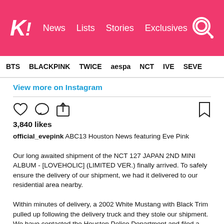K! News  Lists  Stories  Exclusives
BTS  BLACKPINK  TWICE  aespa  NCT  IVE  SEVE
View more on Instagram
3,840 likes
official_evepink ABC13 Houston News featuring Eve Pink

Our long awaited shipment of the NCT 127 JAPAN 2ND MINI ALBUM - [LOVEHOLIC] (LIMITED VER.) finally arrived. To safely ensure the delivery of our shipment, we had it delivered to our residential area nearby.

Within minutes of delivery, a 2002 White Mustang with Black Trim pulled up following the delivery truck and they stole our shipment. We have contacted the Houston Police Department and filed a Theft Police Report. If you have any information regarding the individuals in the video, please contact the HPD Tip Line at (713) 222-8477.